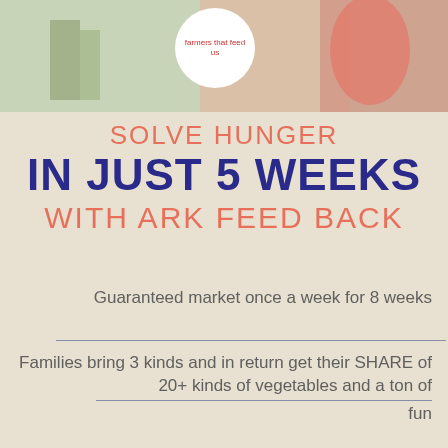[Figure (photo): Photo strip at top showing vegetables/farm produce with a circular logo overlay reading 'farmers that feed us']
SOLVE HUNGER
IN JUST 5 WEEKS
WITH ARK FEED BACK
Guaranteed market once a week for 8 weeks
Families bring 3 kinds and in return get their SHARE of 20+ kinds of vegetables and a ton of fun
Open to all